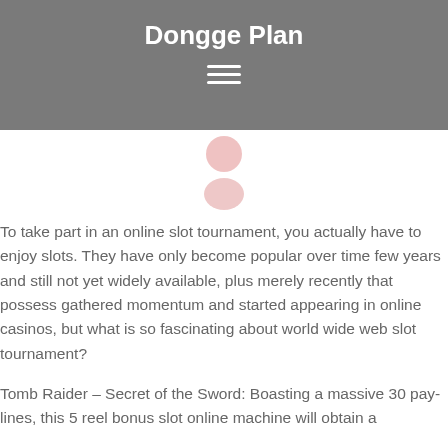Dongge Plan
[Figure (illustration): Hamburger menu icon with three horizontal white lines on grey background]
[Figure (illustration): Pink/red person avatar icon]
To take part in an online slot tournament, you actually have to enjoy slots. They have only become popular over time few years and still not yet widely available, plus merely recently that possess gathered momentum and started appearing in online casinos, but what is so fascinating about world wide web slot tournament?
Tomb Raider – Secret of the Sword: Boasting a massive 30 pay-lines, this 5 reel bonus slot online machine will obtain a